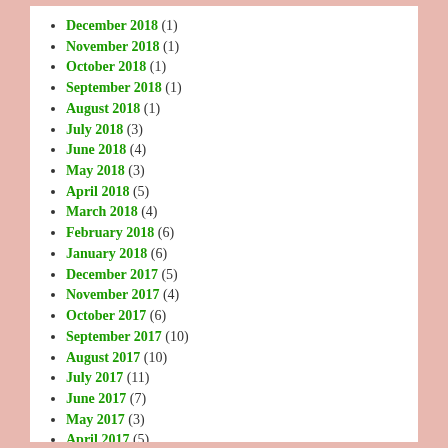December 2018 (1)
November 2018 (1)
October 2018 (1)
September 2018 (1)
August 2018 (1)
July 2018 (3)
June 2018 (4)
May 2018 (3)
April 2018 (5)
March 2018 (4)
February 2018 (6)
January 2018 (6)
December 2017 (5)
November 2017 (4)
October 2017 (6)
September 2017 (10)
August 2017 (10)
July 2017 (11)
June 2017 (7)
May 2017 (3)
April 2017 (5)
March 2017 (17)
February 2017 (9)
January 2017 (12)